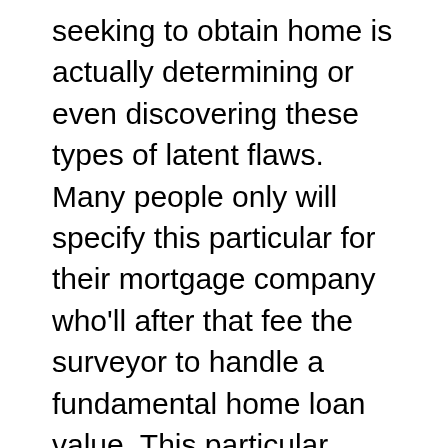seeking to obtain home is actually determining or even discovering these types of latent flaws. Many people only will specify this particular for their mortgage company who'll after that fee the surveyor to handle a fundamental home loan value. This particular includes a restricted check up on the home to guarantee the house may be worth the cash the lending company is actually financing the house purchaser. Usually it is a charge associated with £150 up-wards, with respect to the dimension as well as cost of the house under consideration, even though some loan companies waive this particular value charge being an motivation in order to safe the actual home loan cope with the house purchaser.